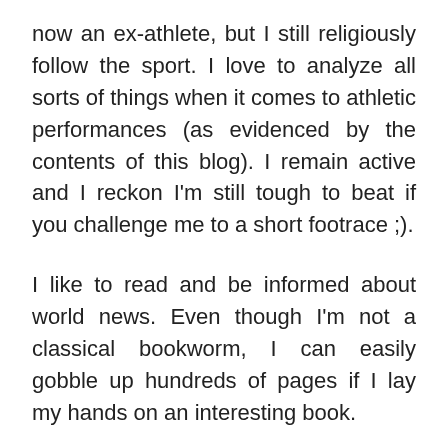now an ex-athlete, but I still religiously follow the sport. I love to analyze all sorts of things when it comes to athletic performances (as evidenced by the contents of this blog). I remain active and I reckon I'm still tough to beat if you challenge me to a short footrace ;).
I like to read and be informed about world news. Even though I'm not a classical bookworm, I can easily gobble up hundreds of pages if I lay my hands on an interesting book.
I'm also a home theater enthusiast due to my love of movies and the technology that goes